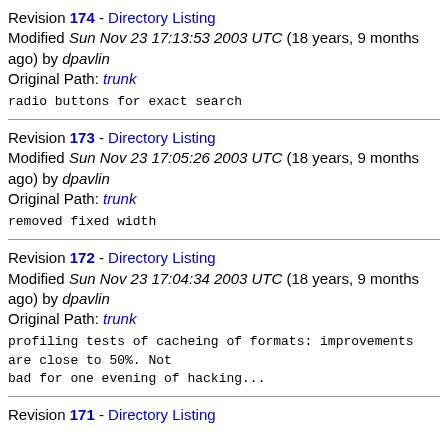Revision 174 - Directory Listing
Modified Sun Nov 23 17:13:53 2003 UTC (18 years, 9 months ago) by dpavlin
Original Path: trunk
radio buttons for exact search
Revision 173 - Directory Listing
Modified Sun Nov 23 17:05:26 2003 UTC (18 years, 9 months ago) by dpavlin
Original Path: trunk
removed fixed width
Revision 172 - Directory Listing
Modified Sun Nov 23 17:04:34 2003 UTC (18 years, 9 months ago) by dpavlin
Original Path: trunk
profiling tests of cacheing of formats: improvements are close to 50%. Not
bad for one evening of hacking...
Revision 171 - Directory Listing